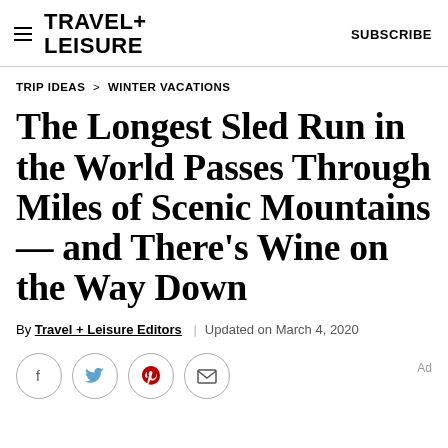TRAVEL+ LEISURE   SUBSCRIBE
TRIP IDEAS > WINTER VACATIONS
The Longest Sled Run in the World Passes Through Miles of Scenic Mountains — and There's Wine on the Way Down
By Travel + Leisure Editors | Updated on March 4, 2020
[Figure (other): Social sharing icons: Facebook, Twitter, Pinterest, Email — circular outlined buttons]